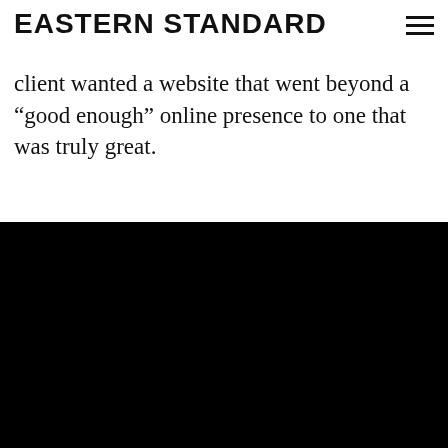EASTERN STANDARD
client wanted a website that went beyond a “good enough” online presence to one that was truly great.
[Figure (screenshot): Screenshot of Eastern University website homepage showing the university logo, navigation bar with links (About, Academics, Student Life, Athletics, Admissions & Financial Aid, Search, Full Menu), a hero image of the campus with trees and buildings, the Eastern University shield logo, text 'FIND YOUR COURAGE', and a maroon section reading 'AT EASTERN YOU CAN EARN...' with buttons below.]